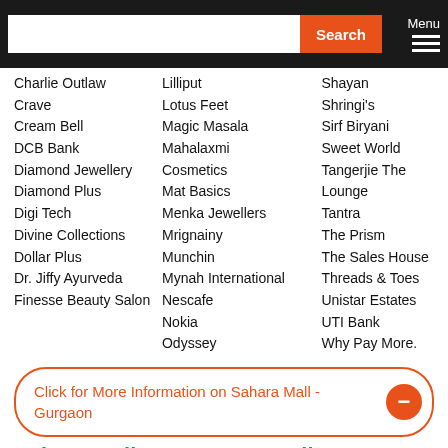Search | Menu
Charlie Outlaw
Crave
Cream Bell
DCB Bank
Diamond Jewellery
Diamond Plus
Digi Tech
Divine Collections
Dollar Plus
Dr. Jiffy Ayurveda
Finesse Beauty Salon
Lilliput
Lotus Feet
Magic Masala
Mahalaxmi Cosmetics
Mat Basics
Menka Jewellers
Mrignainy
Munchin
Mynah International
Nescafe
Nokia
Odyssey
Shayan
Shringi's
Sirf Biryani
Sweet World
Tangerjie The Lounge
Tantra
The Prism
The Sales House
Threads & Toes
Unistar Estates
UTI Bank
Why Pay More.
Click for More Information on Sahara Mall - Gurgaon
Sahara Mall - Gurgaon Details